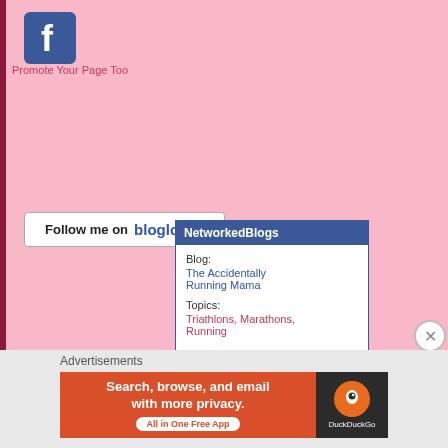[Figure (logo): Facebook logo blue square with white 'f']
Promote Your Page Too
[Figure (logo): Follow me on bloglovin' button]
[Figure (other): NetworkedBlogs widget showing Blog: The Accidentally Running Mama, Topics: Triathlons, Marathons, Running, with Follow my blog link]
Advertisements
[Figure (other): DuckDuckGo advertisement banner: Search, browse, and email with more privacy. All in One Free App]